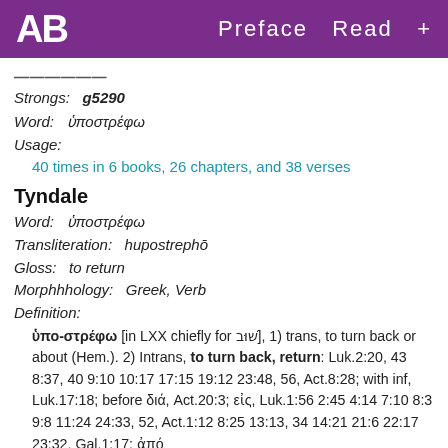AB   Preface  Read  +
Strongs:  g5290
Word:   ὑποστρέφω
Usage:
40 times in 6 books, 26 chapters, and 38 verses
Tyndale
Word:   ὑποστρέφω
Transliteration:   hupostrephō
Gloss:   to return
Morphhhology:   Greek, Verb
Definition:
ὑπο-στρέφω [in LXX chiefly for שׁוּב], 1) trans, to turn back or about (Hem.). 2) Intrans, to turn back, return: Luk.2:20, 43 8:37, 40 9:10 10:17 17:15 19:12 23:48, 56, Act.8:28; with inf, Luk.17:18; before διά, Act.20:3; εἰς, Luk.1:56 2:45 4:14 7:10 8:3 9:8 11:24 24:33, 52, Act.1:12 8:25 13:13, 34 14:21 21:6 22:17 23:32, Gal.1:17; ἀπό